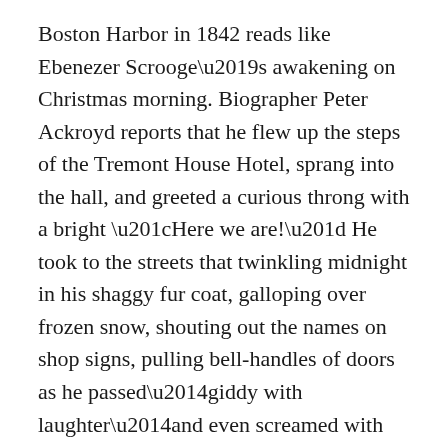Boston Harbor in 1842 reads like Ebenezer Scrooge's awakening on Christmas morning. Biographer Peter Ackroyd reports that he flew up the steps of the Tremont House Hotel, sprang into the hall, and greeted a curious throng with a bright “Here we are!” He took to the streets that twinkling midnight in his shaggy fur coat, galloping over frozen snow, shouting out the names on shop signs, pulling bell-handles of doors as he passed—giddy with laughter—and even screamed with (one imagines) astonishment and delight at the sight of the old South Church. He had set at last upon the shores of “the Republic of my imagination.”
America returned his ardor. Though not quite 30,